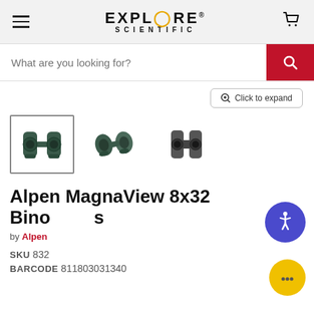[Figure (logo): Explore Scientific logo with hamburger menu and cart icon in grey header]
What are you looking for?
Click to expand
[Figure (photo): Three thumbnail images of Alpen MagnaView 8x32 binoculars from different angles]
Alpen MagnaView 8x32 Binoculars
by Alpen
SKU 832
BARCODE 811803031340